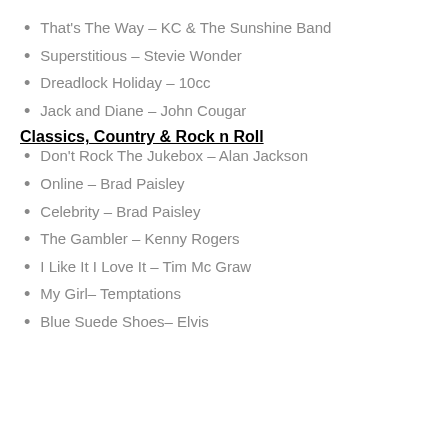That's The Way – KC & The Sunshine Band
Superstitious – Stevie Wonder
Dreadlock Holiday – 10cc
Jack and Diane – John Cougar
Classics, Country & Rock n Roll
Don't Rock The Jukebox – Alan Jackson
Online – Brad Paisley
Celebrity – Brad Paisley
The Gambler – Kenny Rogers
I Like It I Love It – Tim Mc Graw
My Girl– Temptations
Blue Suede Shoes– Elvis